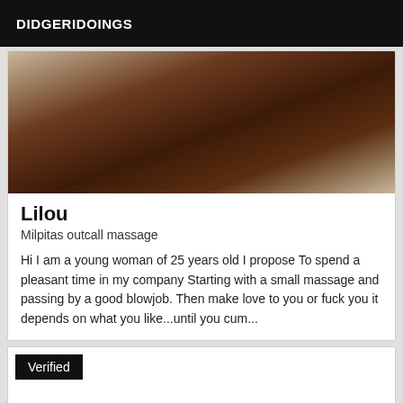DIDGERIDOINGS
[Figure (photo): Close-up photo of what appears to be a dark brown cylindrical object against a light wooden plank background]
Lilou
Milpitas outcall massage
Hi I am a young woman of 25 years old I propose To spend a pleasant time in my company Starting with a small massage and passing by a good blowjob. Then make love to you or fuck you it depends on what you like...until you cum...
Verified